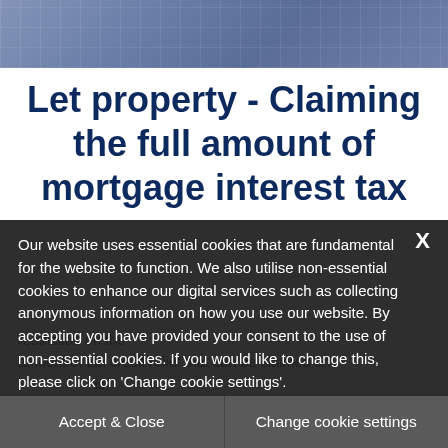[Figure (photo): Photo of a person wearing a blue/grey plaid shirt, cropped to show fabric at top of page]
Let property - Claiming the full amount of mortgage interest tax
...restriction on the amount of tax credit relief that can be claimed on... ...is... interest paid in any one year. However, there are
Our website uses essential cookies that are fundamental for the website to function. We also utilise non-essential cookies to enhance our digital services such as collecting anonymous information on how you use our website. By accepting you have provided your consent to the use of non-essential cookies. If you would like to change this, please click on 'Change cookie settings'.
Accept & Close
Change cookie settings